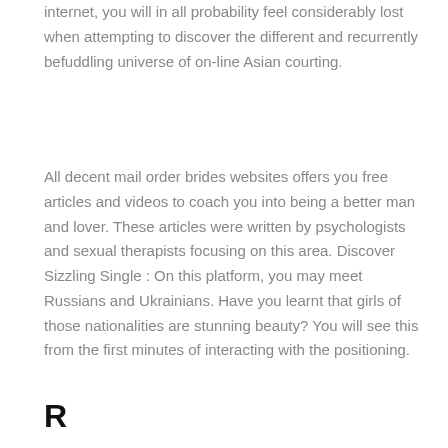internet, you will in all probability feel considerably lost when attempting to discover the different and recurrently befuddling universe of on-line Asian courting.
All decent mail order brides websites offers you free articles and videos to coach you into being a better man and lover. These articles were written by psychologists and sexual therapists focusing on this area. Discover Sizzling Single : On this platform, you may meet Russians and Ukrainians. Have you learnt that girls of those nationalities are stunning beauty? You will see this from the first minutes of interacting with the positioning.
Regarding Curel...